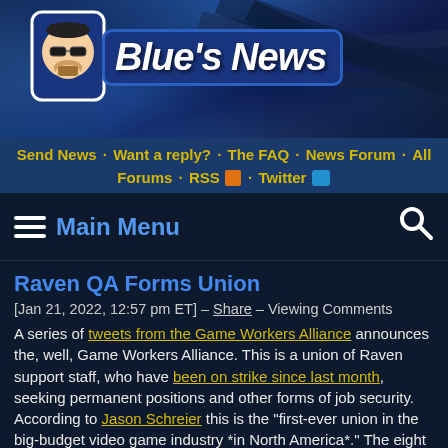[Figure (logo): Blue's News logo with cartoon character wearing sunglasses on a blue gradient banner with swoosh lines]
Send News · Want a reply? · The FAQ · News Forum · All Forums · RSS · Twitter
≡ Main Menu
Raven QA Forms Union
[Jan 21, 2022, 12:57 pm ET] – Share – Viewing Comments
A series of tweets from the Game Workers Alliance announces the, well, Game Workers Alliance. This is a union of Raven support staff, who have been on strike since last month, seeking permanent positions and other forms of job security. According to Jason Schreier this is the "first-ever union in the big-budget video game industry *in North America*." The eight tweets outline operating principles and ask that